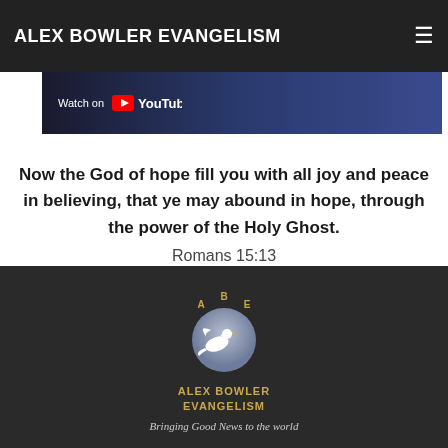ALEX BOWLER EVANGELISM
[Figure (screenshot): YouTube watch button with 'Watch on YouTube' text on a dark blue gradient background]
Now the God of hope fill you with all joy and peace in believing, that ye may abound in hope, through the power of the Holy Ghost. Romans 15:13
[Figure (logo): Alex Bowler Evangelism logo: a white dove flying in front of a pale blue/grey globe, with letters A B E above and 'ALEX BOWLER EVANGELISM' below]
Bringing Good News to the world